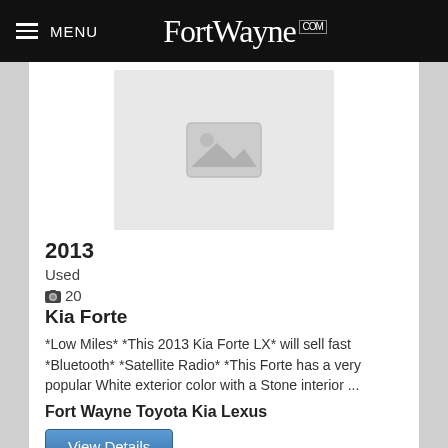MENU FortWayne.com
[Figure (photo): Placeholder image with mountain/landscape icon in gray box]
2013
Used
20
Kia Forte
*Low Miles* *This 2013 Kia Forte LX* will sell fast *Bluetooth* *Satellite Radio* *This Forte has a very popular White exterior color with a Stone interior ...
Fort Wayne Toyota Kia Lexus
View Details
10,877 mi
$14,000